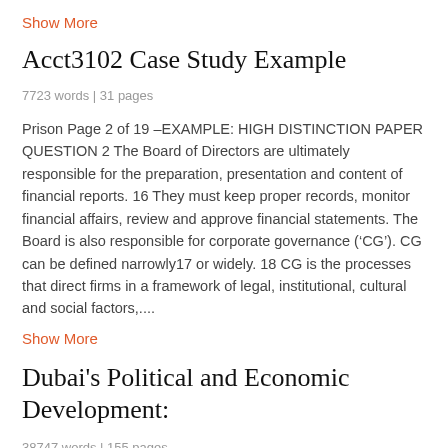Show More
Acct3102 Case Study Example
7723 words | 31 pages
Prison Page 2 of 19 –EXAMPLE: HIGH DISTINCTION PAPER QUESTION 2 The Board of Directors are ultimately responsible for the preparation, presentation and content of financial reports. 16 They must keep proper records, monitor financial affairs, review and approve financial statements. The Board is also responsible for corporate governance (‘CG’). CG can be defined narrowly17 or widely. 18 CG is the processes that direct firms in a framework of legal, institutional, cultural and social factors,....
Show More
Dubai's Political and Economic Development:
38747 words | 155 pages